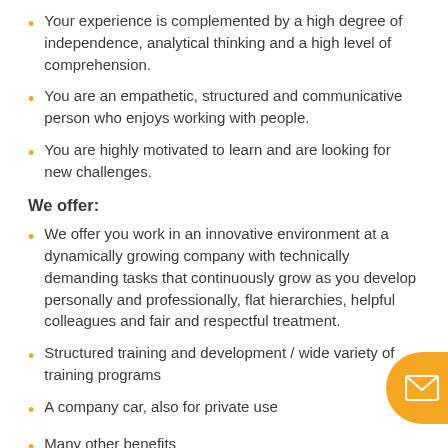Your experience is complemented by a high degree of independence, analytical thinking and a high level of comprehension.
You are an empathetic, structured and communicative person who enjoys working with people.
You are highly motivated to learn and are looking for new challenges.
We offer:
We offer you work in an innovative environment at a dynamically growing company with technically demanding tasks that continuously grow as you develop personally and professionally, flat hierarchies, helpful colleagues and fair and respectful treatment.
Structured training and development / wide variety of training programs
A company car, also for private use
Many other benefits
You will have the chance to present your ideas and be